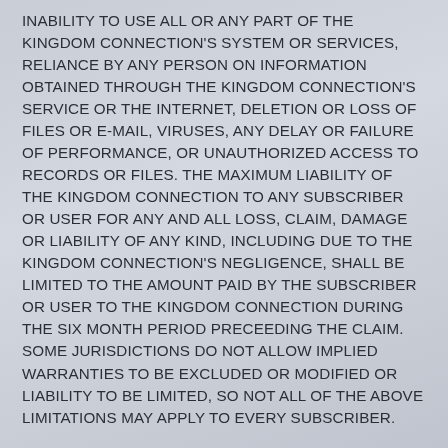INABILITY TO USE ALL OR ANY PART OF THE KINGDOM CONNECTION'S SYSTEM OR SERVICES, RELIANCE BY ANY PERSON ON INFORMATION OBTAINED THROUGH THE KINGDOM CONNECTION'S SERVICE OR THE INTERNET, DELETION OR LOSS OF FILES OR E-MAIL, VIRUSES, ANY DELAY OR FAILURE OF PERFORMANCE, OR UNAUTHORIZED ACCESS TO RECORDS OR FILES. THE MAXIMUM LIABILITY OF THE KINGDOM CONNECTION TO ANY SUBSCRIBER OR USER FOR ANY AND ALL LOSS, CLAIM, DAMAGE OR LIABILITY OF ANY KIND, INCLUDING DUE TO THE KINGDOM CONNECTION'S NEGLIGENCE, SHALL BE LIMITED TO THE AMOUNT PAID BY THE SUBSCRIBER OR USER TO THE KINGDOM CONNECTION DURING THE SIX MONTH PERIOD PRECEEDING THE CLAIM. SOME JURISDICTIONS DO NOT ALLOW IMPLIED WARRANTIES TO BE EXCLUDED OR MODIFIED OR LIABILITY TO BE LIMITED, SO NOT ALL OF THE ABOVE LIMITATIONS MAY APPLY TO EVERY SUBSCRIBER.
Indemnity